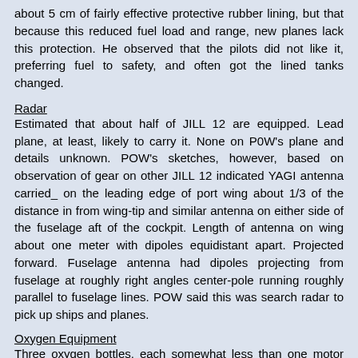about 5 cm of fairly effective protective rubber lining, but that because this reduced fuel load and range, new planes lack this protection. He observed that the pilots did not like it, preferring fuel to safety, and often got the lined tanks changed.
Radar
Estimated that about half of JILL 12 are equipped. Lead plane, at least, likely to carry it. None on POW's plane and details unknown. POW's sketches, however, based on observation of gear on other JILL 12 indicated YAGI antenna carried_ on the leading edge of port wing about 1/3 of the distance in from wing-tip and similar antenna on either side of the fuselage aft of the cockpit. Length of antenna on wing about one meter with dipoles equidistant apart. Projected forward. Fuselage antenna had dipoles projecting from fuselage at roughly right angles center-pole running roughly parallel to fuselage lines. POW said this was search radar to pick up ships and planes.
Oxygen Equipment
Three oxygen bottles, each somewhat less than one motor high and about 10 cm in diameter, carried on the right side of